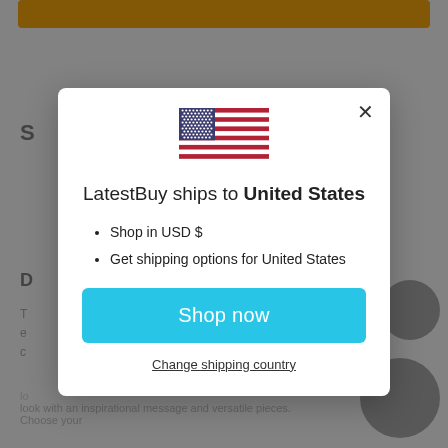[Figure (screenshot): Background webpage with orange button bar at top and partially visible text content, dimmed by modal overlay]
[Figure (illustration): US flag SVG icon centered in modal dialog]
LatestBuy ships to United States
Shop in USD $
Get shipping options for United States
Shop now
Change shipping country